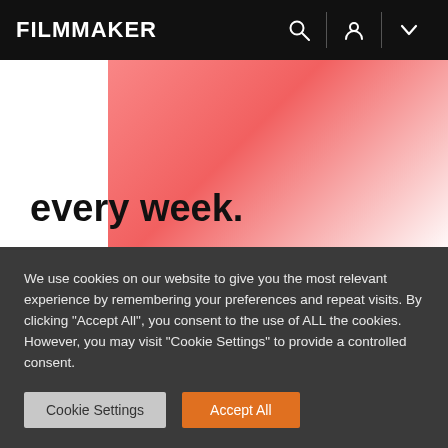FILMMAKER
[Figure (illustration): Partial banner image with pink-red gradient and bold text 'every week.']
2) Define your personal connection to the material. This is another tip from Pitching Web Series, but this tip will ring true in anything you pitch in your lifetime, from a non-fiction book to a Broadway musical. Producers and network execs want to know why you're the only person
We use cookies on our website to give you the most relevant experience by remembering your preferences and repeat visits. By clicking "Accept All", you consent to the use of ALL the cookies. However, you may visit "Cookie Settings" to provide a controlled consent.